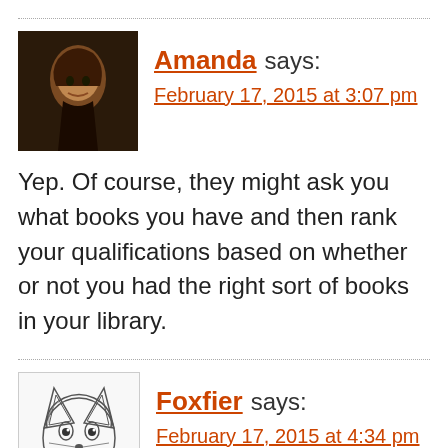Amanda says:
February 17, 2015 at 3:07 pm
Yep. Of course, they might ask you what books you have and then rank your qualifications based on whether or not you had the right sort of books in your library.
Foxfier says:
February 17, 2015 at 4:34 pm
My husband's blood type is currently M* because we filled up roughly a third of a 16 foot POD with our book collection, most of